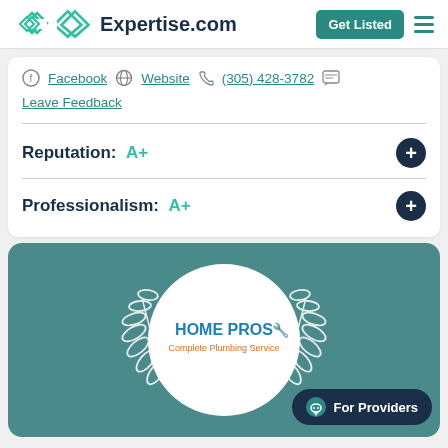Expertise.com
Facebook  Website  (305) 428-3782  Leave Feedback
Reputation: A+
Professionalism: A+
[Figure (logo): Home Pros Complete Plumbing Service logo inside a white circle with laurel wreath on teal background. A 'For Providers' chat button is shown in the bottom right.]